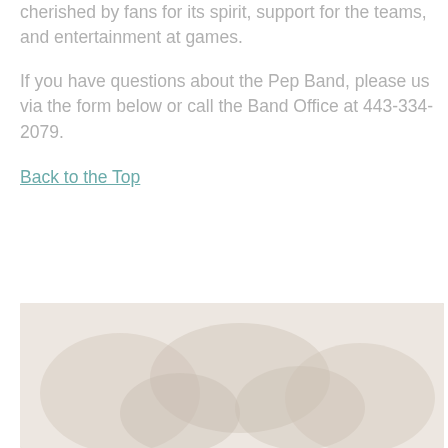cherished by fans for its spirit, support for the teams, and entertainment at games.
If you have questions about the Pep Band, please us via the form below or call the Band Office at 443-334-2079.
Back to the Top
[Figure (photo): A faded/washed out photograph, likely showing a pep band or musical group, with very low contrast appearing almost white]